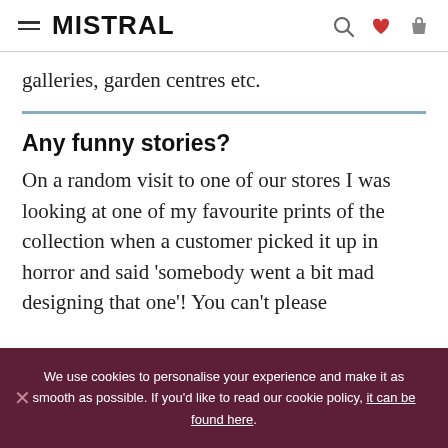MISTRAL
galleries, garden centres etc.
Any funny stories?
On a random visit to one of our stores I was looking at one of my favourite prints of the collection when a customer picked it up in horror and said 'somebody went a bit mad designing that one'! You can't please
We use cookies to personalise your experience and make it as smooth as possible. If you'd like to read our cookie policy, it can be found here.